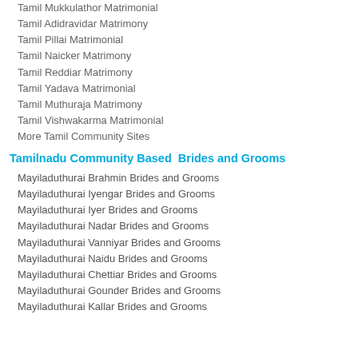Tamil Mukkulathor Matrimonial
Tamil Adidravidar Matrimony
Tamil Pillai Matrimonial
Tamil Naicker Matrimony
Tamil Reddiar Matrimony
Tamil Yadava Matrimonial
Tamil Muthuraja Matrimony
Tamil Vishwakarma Matrimonial
More Tamil Community Sites
Tamilnadu Community Based  Brides and Grooms
Mayiladuthurai Brahmin Brides and Grooms
Mayiladuthurai Iyengar Brides and Grooms
Mayiladuthurai Iyer Brides and Grooms
Mayiladuthurai Nadar Brides and Grooms
Mayiladuthurai Vanniyar Brides and Grooms
Mayiladuthurai Naidu Brides and Grooms
Mayiladuthurai Chettiar Brides and Grooms
Mayiladuthurai Gounder Brides and Grooms
Mayiladuthurai Kallar Brides and Grooms